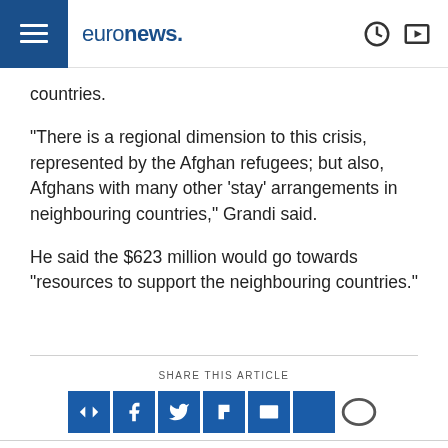euronews.
countries.
"There is a regional dimension to this crisis, represented by the Afghan refugees; but also, Afghans with many other 'stay' arrangements in neighbouring countries," Grandi said.
He said the $623 million would go towards "resources to support the neighbouring countries."
SHARE THIS ARTICLE